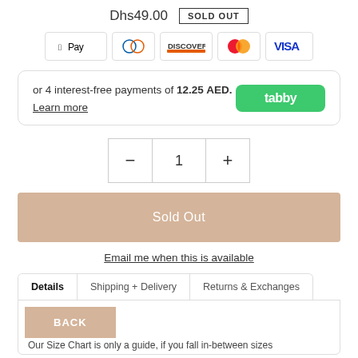Dhs49.00  SOLD OUT
[Figure (other): Payment method icons: Apple Pay, Diners Club, Discover, Mastercard, Visa]
or 4 interest-free payments of 12.25 AED. Learn more  [tabby logo]
- 1 +
Sold Out
Email me when this is available
Details  Shipping + Delivery  Returns & Exchanges
BACK
Our Size Chart is only a guide, if you fall in-between sizes